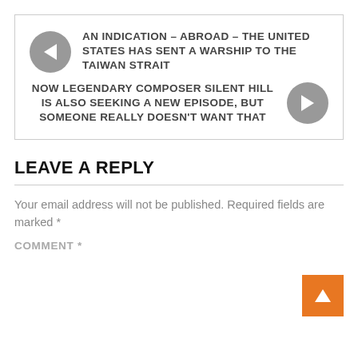AN INDICATION – ABROAD – THE UNITED STATES HAS SENT A WARSHIP TO THE TAIWAN STRAIT
NOW LEGENDARY COMPOSER SILENT HILL IS ALSO SEEKING A NEW EPISODE, BUT SOMEONE REALLY DOESN'T WANT THAT
LEAVE A REPLY
Your email address will not be published. Required fields are marked *
COMMENT *